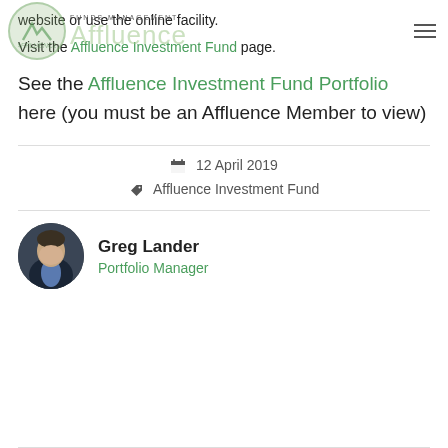Affluence Funds Management
website or use the online facility.
Visit the Affluence Investment Fund page.
See the Affluence Investment Fund Portfolio here (you must be an Affluence Member to view)
12 April 2019
Affluence Investment Fund
Greg Lander
Portfolio Manager